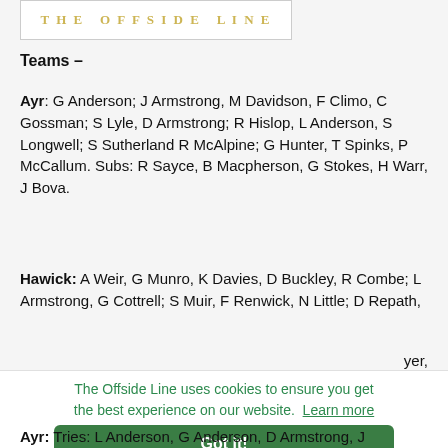[Figure (logo): Website logo/header image with golden text on white background]
Teams –
Ayr: G Anderson; J Armstrong, M Davidson, F Climo, C Gossman; S Lyle, D Armstrong; R Hislop, L Anderson, S Longwell; S Sutherland R McAlpine; G Hunter, T Spinks, P McCallum. Subs: R Sayce, B Macpherson, G Stokes, H Warr, J Bova.
Hawick: A Weir, G Munro, K Davies, D Buckley, R Combe; L Armstrong, G Cottrell; S Muir, F Renwick, N Little; D Repath, [text cut off] yer,
The Offside Line uses cookies to ensure you get the best experience on our website. Learn more
Got it!
Ayr: Tries: L Anderson, G Anderson, D Armstrong, J